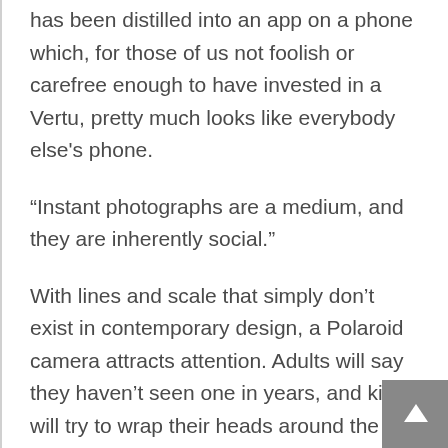has been distilled into an app on a phone which, for those of us not foolish or carefree enough to have invested in a Vertu, pretty much looks like everybody else's phone.
“Instant photographs are a medium, and they are inherently social.”
With lines and scale that simply don’t exist in contemporary design, a Polaroid camera attracts attention. Adults will say they haven’t seen one in years, and kids will try to wrap their heads around the idea that cameras can look like that. But everyone will want to have their picture taken with it, and and you can ask